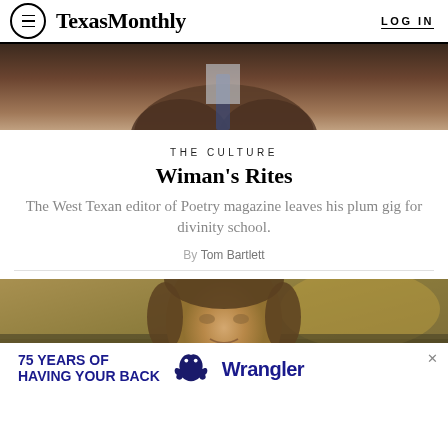Texas Monthly | LOG IN
[Figure (photo): Cropped photo of a man in a brown jacket and blue tie, shown from chest up, background blurred]
THE CULTURE
Wiman's Rites
The West Texan editor of Poetry magazine leaves his plum gig for divinity school.
By Tom Bartlett
[Figure (photo): Painting of a historical figure (resembling Shakespeare), old master style portrait with landscape background]
[Figure (other): Advertisement banner: 75 YEARS OF HAVING YOUR BACK — Wrangler brand logo with stylized horse illustration]